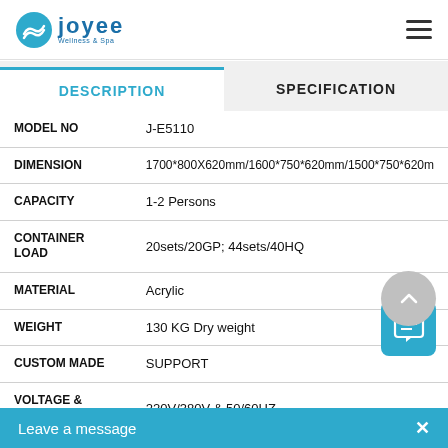[Figure (logo): Joyee brand logo with blue wave icon and text 'joyee' with subtitle 'Wellness & Spa']
DESCRIPTION
SPECIFICATION
| Field | Value |
| --- | --- |
| MODEL NO | J-E5110 |
| DIMENSION | 1700*800X620mm/1600*750*620mm/1500*750*620m |
| CAPACITY | 1-2 Persons |
| CONTAINER LOAD | 20sets/20GP; 44sets/40HQ |
| MATERIAL | Acrylic |
| WEIGHT | 130 KG Dry weight |
| CUSTOM MADE | SUPPORT |
| VOLTAGE & HERTZ | 220V/380V & 50/60HZ |
| MAX POWER |  |
Leave a message